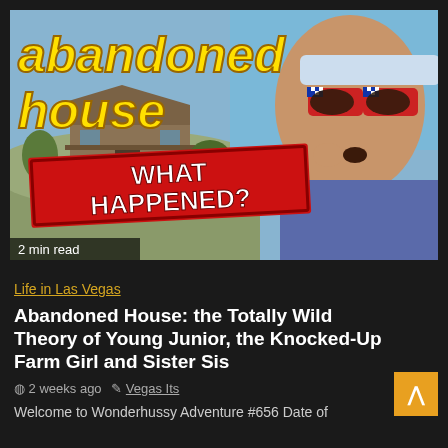[Figure (screenshot): YouTube video thumbnail showing an abandoned house with text 'abandoned house' in yellow italic font, a red stamp overlay reading 'WHAT HAPPENED?', and a woman wearing American flag sunglasses on the right side. A '2 min read' label appears at the bottom left.]
2 min read
Life in Las Vegas
Abandoned House: the Totally Wild Theory of Young Junior, the Knocked-Up Farm Girl and Sister Sis
2 weeks ago   Vegas Its
Welcome to Wonderhussy Adventure #656 Date of